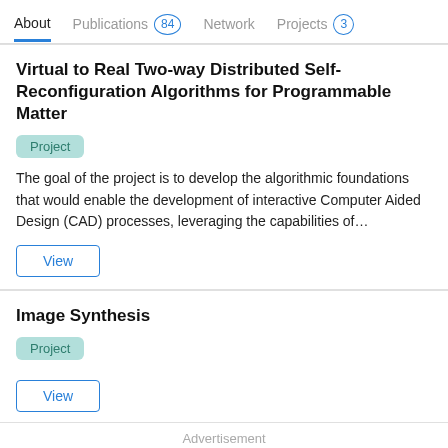About | Publications 84 | Network | Projects 3
Virtual to Real Two-way Distributed Self-Reconfiguration Algorithms for Programmable Matter
Project
The goal of the project is to develop the algorithmic foundations that would enable the development of interactive Computer Aided Design (CAD) processes, leveraging the capabilities of...
View
Image Synthesis
Project
View
Advertisement